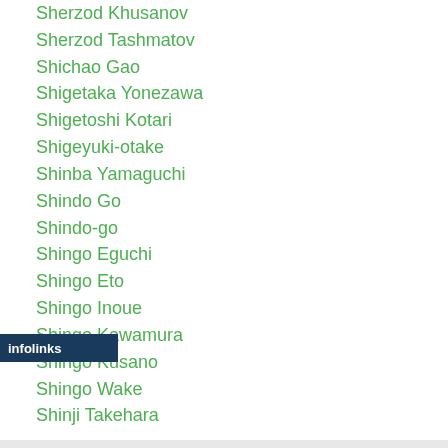Sherzod Khusanov
Sherzod Tashmatov
Shichao Gao
Shigetaka Yonezawa
Shigetoshi Kotari
Shigeyuki-otake
Shinba Yamaguchi
Shindo Go
Shindo-go
Shingo Eguchi
Shingo Eto
Shingo Inoue
Shingo Kawamura
Shingo Kusano
Shingo Wake
Shinji Takehara
[Figure (screenshot): Advertisement banner for Tally app: Fast credit card payoff, with Download Now button. Infolinks label visible above.]